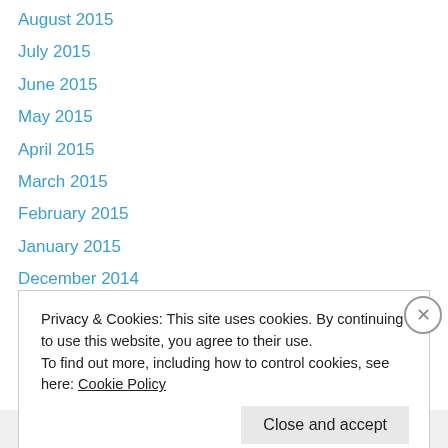August 2015
July 2015
June 2015
May 2015
April 2015
March 2015
February 2015
January 2015
December 2014
October 2014
July 2014
April 2014
March 2014
Privacy & Cookies: This site uses cookies. By continuing to use this website, you agree to their use. To find out more, including how to control cookies, see here: Cookie Policy
Close and accept